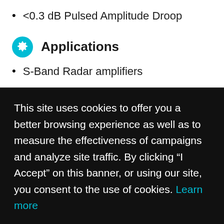<0.3 dB Pulsed Amplitude Droop
Applications
S-Band Radar amplifiers
This site uses cookies to offer you a better browsing experience as well as to measure the effectiveness of campaigns and analyze site traffic. By clicking “I Accept” on this banner, or using our site, you consent to the use of cookies. Learn more
I Accept